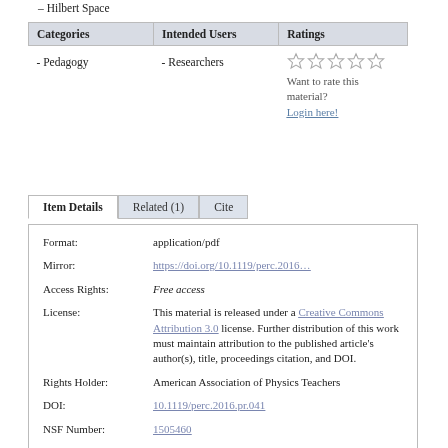– Hilbert Space
| Categories | Intended Users | Ratings |
| --- | --- | --- |
| - Pedagogy | - Researchers | ☆☆☆☆☆
Want to rate this material?
Login here! |
Item Details | Related (1) | Cite
| Format: | application/pdf |
| Mirror: | https://doi.org/10.1119/perc.2016… |
| Access Rights: | Free access |
| License: | This material is released under a Creative Commons Attribution 3.0 license. Further distribution of this work must maintain attribution to the published article's author(s), title, proceedings citation, and DOI. |
| Rights Holder: | American Association of Physics Teachers |
| DOI: | 10.1119/perc.2016.pr.041 |
| NSF Number: | 1505460 |
| Keywords: | PERC 2016, Degenerate Subspace |
| Record Creator: | Metadata instance created November 30, 2016 by Lyle Barbato |